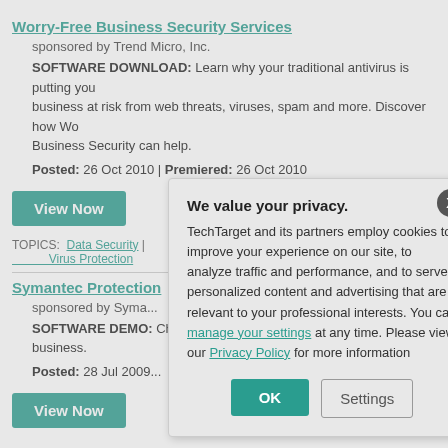Worry-Free Business Security Services
sponsored by Trend Micro, Inc.
SOFTWARE DOWNLOAD: Learn why your traditional antivirus is putting your business at risk from web threats, viruses, spam and more. Discover how Worry-Free Business Security can help.
Posted: 26 Oct 2010 | Premiered: 26 Oct 2010
View Now
TOPICS: Data Security | Virus Protection
Symantec Protection
sponsored by Syma...
SOFTWARE DEMO: Challenge and see h... business.
Posted: 28 Jul 2009
View Now
We value your privacy. TechTarget and its partners employ cookies to improve your experience on our site, to analyze traffic and performance, and to serve personalized content and advertising that are relevant to your professional interests. You can manage your settings at any time. Please view our Privacy Policy for more information
OK
Settings